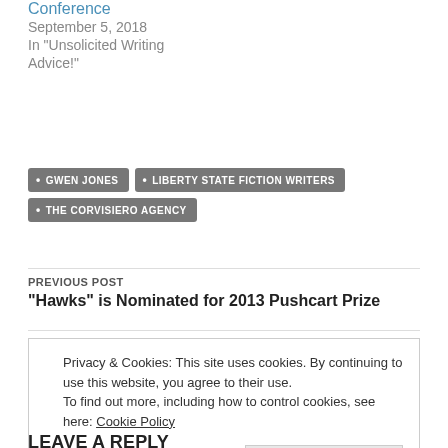Conference
September 5, 2018
In "Unsolicited Writing Advice!"
GWEN JONES
LIBERTY STATE FICTION WRITERS
THE CORVISIERO AGENCY
PREVIOUS POST
“Hawks” is Nominated for 2013 Pushcart Prize
Privacy & Cookies: This site uses cookies. By continuing to use this website, you agree to their use.
To find out more, including how to control cookies, see here: Cookie Policy
Close and accept
LEAVE A REPLY